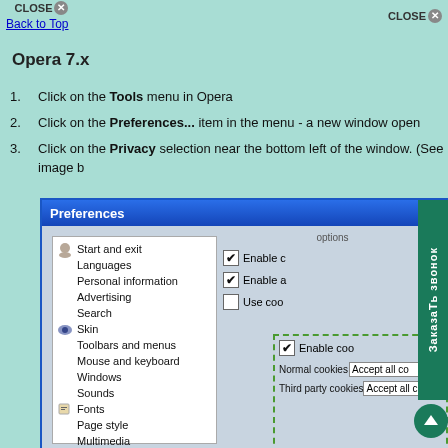CLOSE   Back to Top   CLOSE
Opera 7.x
Click on the Tools menu in Opera
Click on the Preferences... item in the menu - a new window open
Click on the Privacy selection near the bottom left of the window. (See image b
[Figure (screenshot): Opera 7.x Preferences dialog screenshot showing left sidebar menu with items: Start and exit, Languages, Personal information, Advertising, Search, Skin, Toolbars and menus, Mouse and keyboard, Windows, Sounds, Fonts, Page style, Multimedia, Programs and paths. Right panel shows checkboxes for Enable cookies options and dropdown selects for Normal cookies and Third party cookies set to Accept all cookies.]